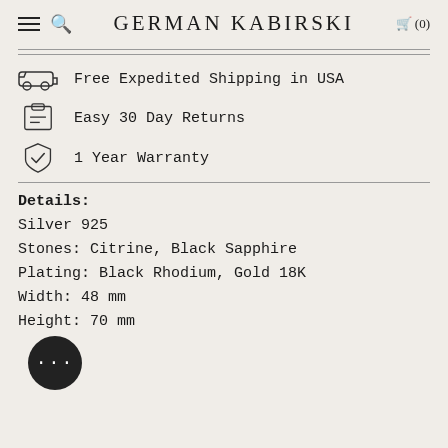GERMAN KABIRSKI
Free Expedited Shipping in USA
Easy 30 Day Returns
1 Year Warranty
Details:
Silver 925
Stones: Citrine, Black Sapphire
Plating: Black Rhodium, Gold 18K
Width: 48 mm
Height: 70 mm